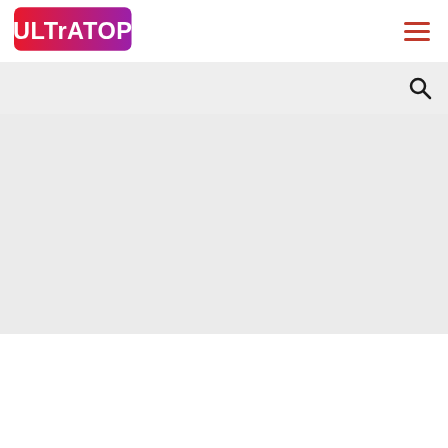[Figure (logo): Ultratop logo with gradient background (red to purple), white bold text reading ULTRATOP]
[Figure (other): Hamburger menu icon with three horizontal red lines]
[Figure (other): Search bar with light gray background and search magnifying glass icon on the right]
[Figure (other): Large light gray content area below the search bar]